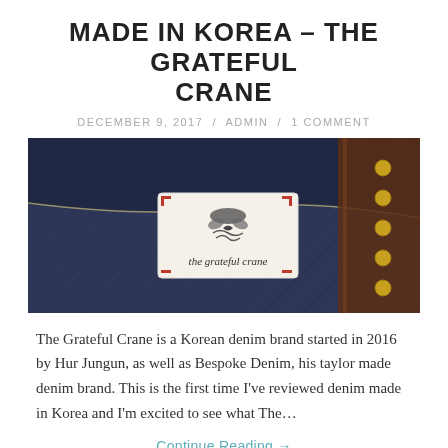MADE IN KOREA – THE GRATEFUL CRANE
DECEMBER 9, 2017  /  ADMIN  /  1 COMMENT
[Figure (photo): Close-up photo of dark indigo denim fabric with a white label reading 'the grateful crane' stitched in red, alongside brown leather with brass rivets.]
The Grateful Crane is a Korean denim brand started in 2016 by Hur Jungun, as well as Bespoke Denim, his taylor made denim brand. This is the first time I've reviewed denim made in Korea and I'm excited to see what The…
Continue Reading →